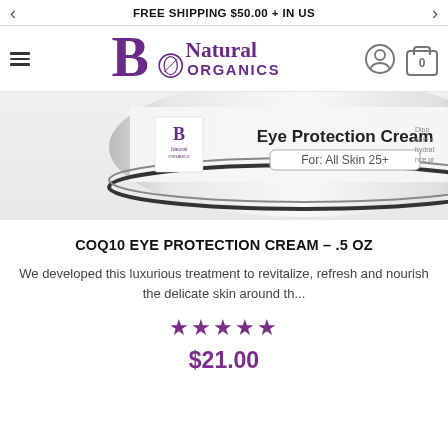FREE SHIPPING $50.00 + IN US
[Figure (logo): Be Natural Organics logo with stylized B and leaf icon, purple text]
[Figure (photo): Close-up of a white/silver jar lid labeled Eye Protection Cream, For: All Skin 25+, with Be Natural Organics logo on the label]
COQ10 EYE PROTECTION CREAM – .5 OZ
We developed this luxurious treatment to revitalize, refresh and nourish the delicate skin around th...
★★★★★
$21.00